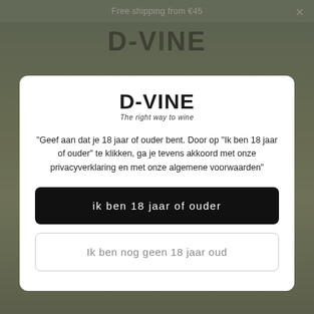Free shipping from €45
[Figure (screenshot): D-VINE wine webshop background with vineyard image and site navigation header showing D-VINE logo]
[Figure (logo): D-VINE logo with tagline 'The right way to wine']
"Geef aan dat je 18 jaar of ouder bent. Door op "Ik ben 18 jaar of ouder" te klikken, ga je tevens akkoord met onze privacyverklaring en met onze algemene voorwaarden"
ik ben 18 jaar of ouder
Ik ben nog geen 18 jaar oud